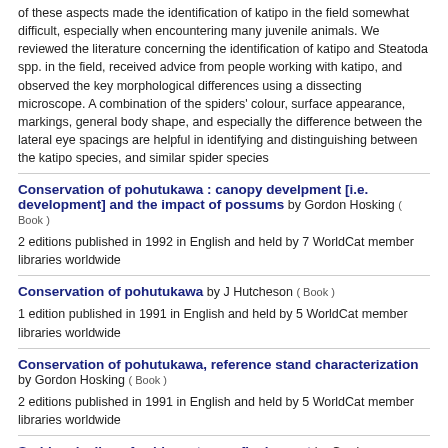of these aspects made the identification of katipo in the field somewhat difficult, especially when encountering many juvenile animals. We reviewed the literature concerning the identification of katipo and Steatoda spp. in the field, received advice from people working with katipo, and observed the key morphological differences using a dissecting microscope. A combination of the spiders' colour, surface appearance, markings, general body shape, and especially the difference between the lateral eye spacings are helpful in identifying and distinguishing between the katipo species, and similar spider species
Conservation of pohutukawa : canopy develpment [i.e. development] and the impact of possums by Gordon Hosking ( Book )
2 editions published in 1992 in English and held by 7 WorldCat member libraries worldwide
Conservation of pohutukawa by J Hutcheson ( Book )
1 edition published in 1991 in English and held by 5 WorldCat member libraries worldwide
Conservation of pohutukawa, reference stand characterization by Gordon Hosking ( Book )
2 editions published in 1991 in English and held by 5 WorldCat member libraries worldwide
Sudden decline of cabbage trees : final report by Gordon